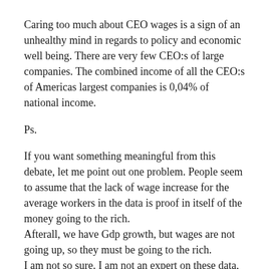Caring too much about CEO wages is a sign of an unhealthy mind in regards to policy and economic well being. There are very few CEO:s of large companies. The combined income of all the CEO:s of Americas largest companies is 0,04% of national income.
Ps.
If you want something meaningful from this debate, let me point out one problem. People seem to assume that the lack of wage increase for the average workers in the data is proof in itself of the money going to the rich.
Afterall, we have Gdp growth, but wages are not going up, so they must be going to the rich.
I am not so sure. I am not an expert on these data, but it really seems even if you look at the higher percentiles wages are not going up by as much as you would expect. Management, professional, and related only had 0,3% faster wage growth than all civilian earners the last year.
So where is the money going? Self employers income? The capital share is higher, but the effect is far to small to account for